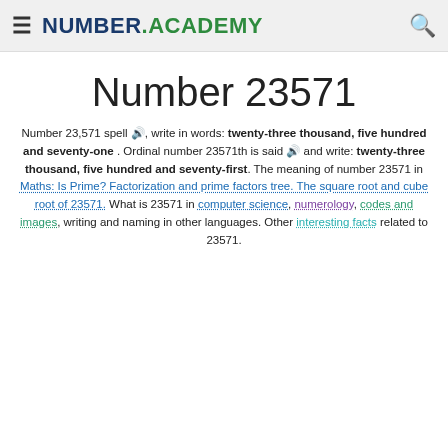NUMBER.ACADEMY
Number 23571
Number 23,571 spell 🔊, write in words: twenty-three thousand, five hundred and seventy-one. Ordinal number 23571th is said 🔊 and write: twenty-three thousand, five hundred and seventy-first. The meaning of number 23571 in Maths: Is Prime? Factorization and prime factors tree. The square root and cube root of 23571. What is 23571 in computer science, numerology, codes and images, writing and naming in other languages. Other interesting facts related to 23571.